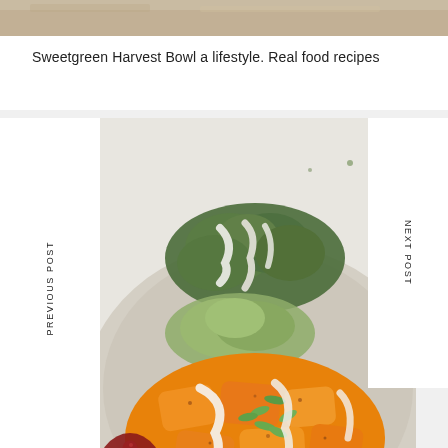[Figure (photo): Top portion of a wooden table or surface, partially visible at the top of the page]
Sweetgreen Harvest Bowl a lifestyle. Real food recipes
[Figure (photo): Close-up photo of a grain bowl with roasted butternut squash, broccoli, cranberries, pumpkin seeds, and a white tahini or yogurt drizzle in a ceramic bowl on a white background]
PREVIOUS POST
NEXT POST